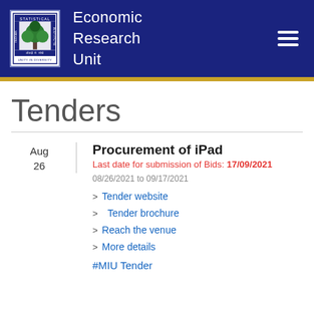[Figure (logo): Statistical Institute logo with tree and text 'UNITY IN DIVERSITY']
Economic Research Unit
Tenders
Aug 26
Procurement of iPad
Last date for submission of Bids: 17/09/2021
08/26/2021 to 09/17/2021
> Tender website
> Tender brochure
> Reach the venue
> More details
#MIU Tender